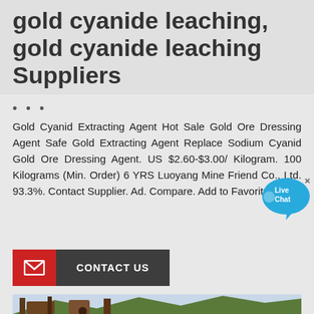gold cyanide leaching, gold cyanide leaching Suppliers
...
Gold Cyanid Extracting Agent Hot Sale Gold Ore Dressing Agent Safe Gold Extracting Agent Replace Sodium Cyanid Gold Ore Dressing Agent. US $2.60-$3.00/ Kilogram. 100 Kilograms (Min. Order) 6 YRS Luoyang Mine Friend Co., Ltd. 93.3%. Contact Supplier. Ad. Compare. Add to Favorites.
[Figure (infographic): Live Chat bubble widget overlaid on the text area]
[Figure (other): Contact Us button with red mail icon box and dark grey label]
[Figure (photo): Industrial mining machinery photographed outdoors with mountains and trees in the background]